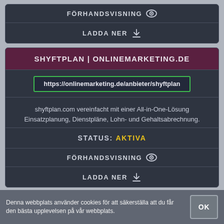FÖRHANDSVISNING
LADDA NER
SHYFTPLAN | ONLINEMARKETING.DE
https://onlinemarketing.de/anbieter/shyftplan
shyftplan.com vereinfacht mit einer All-in-One-Lösung Einsatzplanung, Dienstpläne, Lohn- und Gehaltsabrechnung.
STATUS: AKTIVA
FÖRHANDSVISNING
LADDA NER
Denna webbplats använder cookies för att säkerställa att du får den bästa upplevelsen på vår webbplats.